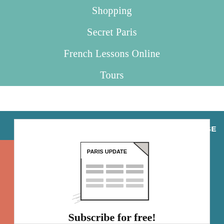Shopping
Secret Paris
French Lessons Online
Tours
[Figure (illustration): Sketch illustration of a newspaper titled 'PARIS UPDATE' with body text lines and a curled corner]
Subscribe for free!
The Paris Update newsletter will arrive in your inbox every Wednesday, full of the latest Paris news, reviews and insider tips.
Your email address
SIGN UP